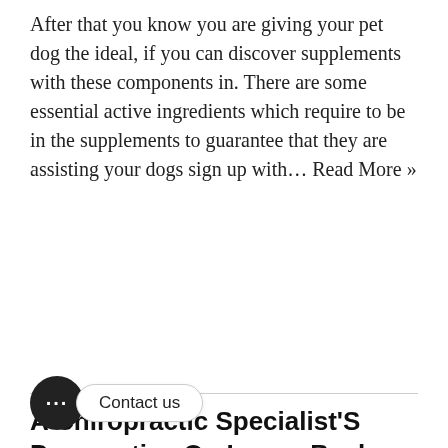After that you know you are giving your pet dog the ideal, if you can discover supplements with these components in. There are some essential active ingredients which require to be in the supplements to guarantee that they are assisting your dogs sign up with… Read More »
A Chiropractic Specialist'S Perspective On Lower Back Pain
by salvatoremerrima
When we transform these points we will see steady improvement over a duration of months as well as weeks. As … s … aid us also better when this is under control after that we will have a much far better time